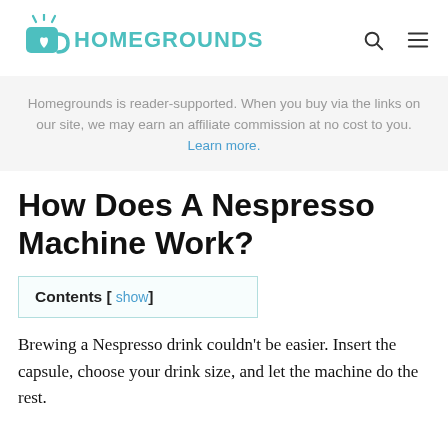[Figure (logo): HomeGrounds logo with teal coffee cup icon and teal uppercase text HOMEGROUNDS, plus search and hamburger menu icons]
Homegrounds is reader-supported. When you buy via the links on our site, we may earn an affiliate commission at no cost to you. Learn more.
How Does A Nespresso Machine Work?
Contents [ show ]
Brewing a Nespresso drink couldn't be easier. Insert the capsule, choose your drink size, and let the machine do the rest.